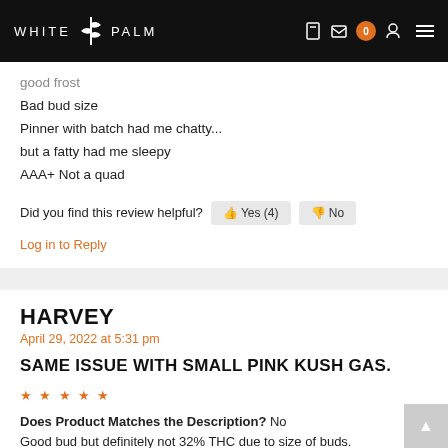WHITE PALM
good frost
Bad bud size
Pinner with batch had me chatty...
but a fatty had me sleepy
AAA+ Not a quad
Did you find this review helpful? Yes (4) No
Log in to Reply
HARVEY
April 29, 2022 at 5:31 pm
SAME ISSUE WITH SMALL PINK KUSH GAS.
Does Product Matches the Description? No
Good bud but definitely not 32% THC due to size of buds.